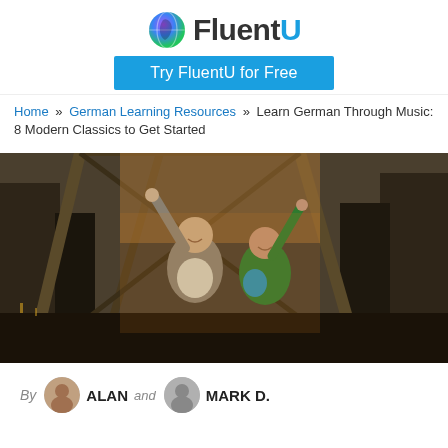[Figure (logo): FluentU logo with colorful globe icon and blue 'FluentU' text]
[Figure (other): Blue button reading 'Try FluentU for Free']
Home » German Learning Resources » Learn German Through Music: 8 Modern Classics to Get Started
[Figure (photo): Two people standing on a rooftop or elevated urban structure with arms raised in celebration, city visible below]
By ALAN and MARK D.